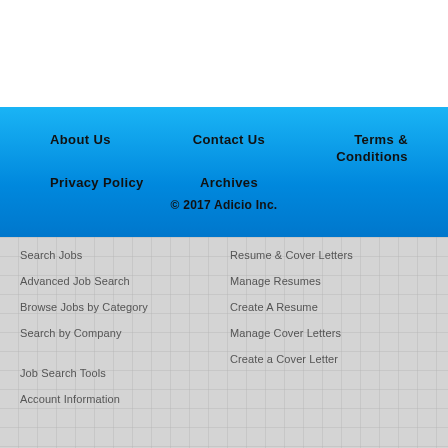About Us
Contact Us
Terms & Conditions
Privacy Policy
Archives
© 2017 Adicio Inc.
Search Jobs
Resume & Cover Letters
Advanced Job Search
Manage Resumes
Browse Jobs by Category
Create A Resume
Search by Company
Manage Cover Letters
Create a Cover Letter
Job Search Tools
Account Information